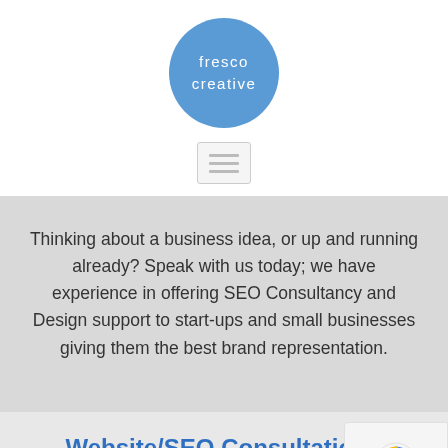[Figure (logo): Fresco Creative logo: blue circle with white text reading 'fresco creative']
[Figure (other): Hamburger menu icon with three horizontal lines inside a rounded rectangle border]
Thinking about a business idea, or up and running already? Speak with us today; we have experience in offering SEO Consultancy and Design support to start-ups and small businesses giving them the best brand representation.
Website/SEO Consultation?
If you aren't getting as many enquiries from your website as